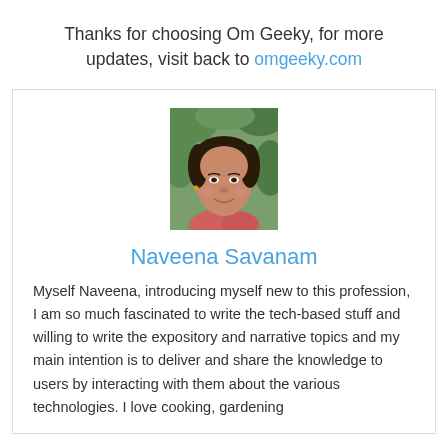Thanks for choosing Om Geeky, for more updates, visit back to omgeeky.com
[Figure (photo): Portrait photo of Naveena Savanam, a woman with dark hair, smiling, with green foliage in the background]
Naveena Savanam
Myself Naveena, introducing myself new to this profession, I am so much fascinated to write the tech-based stuff and willing to write the expository and narrative topics and my main intention is to deliver and share the knowledge to users by interacting with them about the various technologies. I love cooking, gardening